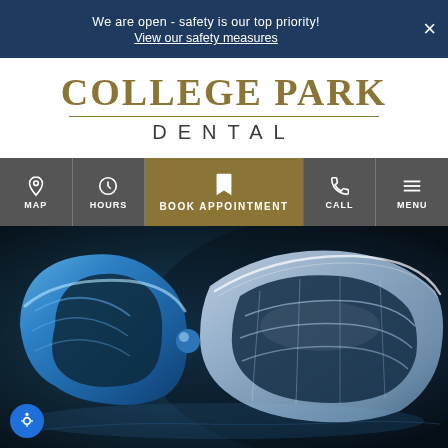We are open - safety is our top priority! View our safety measures
[Figure (logo): College Park Dental logo with serif text and decorative line]
[Figure (infographic): Navigation bar with MAP, HOURS, BOOK APPOINTMENT, CALL, MENU icons]
[Figure (photo): Blue and clear transparent dental mouthguards/night guards on dark background]